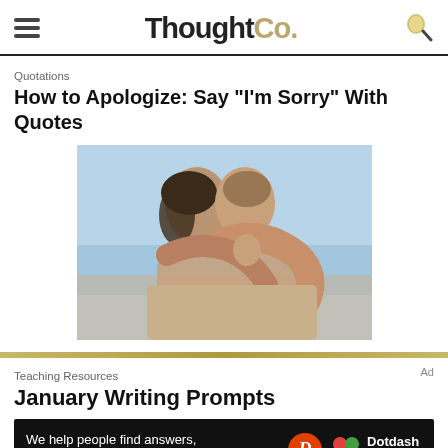ThoughtCo.
Quotations
How to Apologize: Say "I'm Sorry" With Quotes
[Figure (photo): Two people embracing in a hug on a beach, shot from above/side. Warm skin tones against a light blue sky background.]
Teaching Resources
January Writing Prompts
[Figure (infographic): Black advertisement banner: 'We help people find answers, solve problems and get inspired.' with Dotdash Meredith logo]